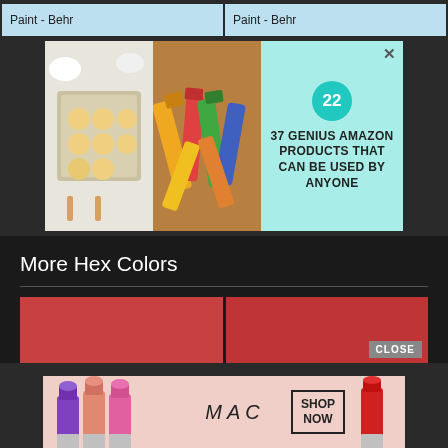Paint - Behr
Paint - Behr
[Figure (screenshot): Advertisement banner: '37 Genius Amazon Products That Can Be Used By Anyone' with badge showing '22', images of cookies on baking sheet and colorful lip balms/makeup products, teal background, close X button]
More Hex Colors
[Figure (screenshot): Two red/crimson color swatches side by side with a CLOSE button on the right swatch]
[Figure (screenshot): MAC cosmetics advertisement showing lipsticks in purple, peach, pink colors with MAC logo and SHOP NOW button on pink background]